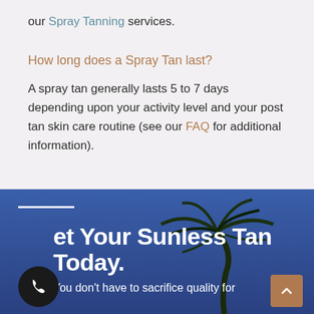our Spray Tanning services.
How long does a Spray Tan last?
A spray tan generally lasts 5 to 7 days depending upon your activity level and your post tan skin care routine (see our FAQ for additional information).
[Figure (photo): Blue sky background with palm tree silhouette on a dark blue banner section]
Get Your Sunless Tan Today.
You don't have to sacrifice quality for